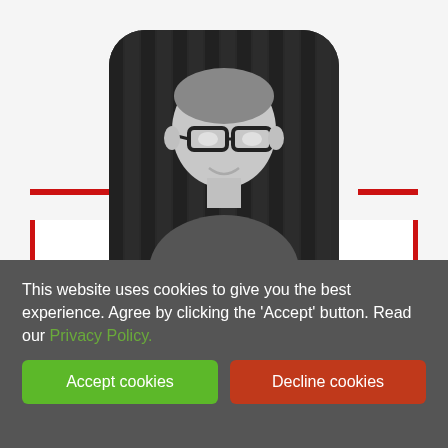[Figure (photo): Black and white profile photo of Gary Clarke, a man wearing glasses, shown from shoulders up, in a rounded rectangle frame with red horizontal accent lines]
Gary Clarke
[Figure (logo): Orange double left-pointing chevron logo]
Awesome content to your inbox
This website uses cookies to give you the best experience. Agree by clicking the 'Accept' button. Read our Privacy Policy.
Accept cookies
Decline cookies